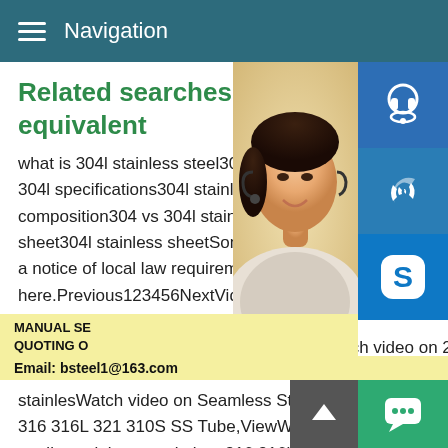Navigation
Related searches for stainless steel equivalent
what is 304l stainless steel304l stainless s... 304l specifications304l stainless steel den... composition304 vs 304l stainless steel304... sheet304l stainless sheetSome results are... a notice of local law requirement.For more... here.Previous123456NextVideos of stainle... equivalent Watch video on 0.5mm thicknes... stainless steel 201 316 sheet,View 0.5mWatch video on 201 202 304 304l 316 316l stainless steel sheet and plates,View 304 stainlesWatch video on Seamless Stainless Steel Pipe,304 304L 316 316L 321 310S SS Tube,ViewWatch video on China high quality stainless steel plate 316 316l manufacture,View 316l stWatch video on 304 316 stainless steel 201 316 316l 304 pla...
[Figure (photo): Woman with headset customer service representative]
[Figure (infographic): Side panel with headset icon, phone icon, Skype icon buttons, and MANUAL SERVICE / QUOTING / Email: bsteel1@163.com promo bar]